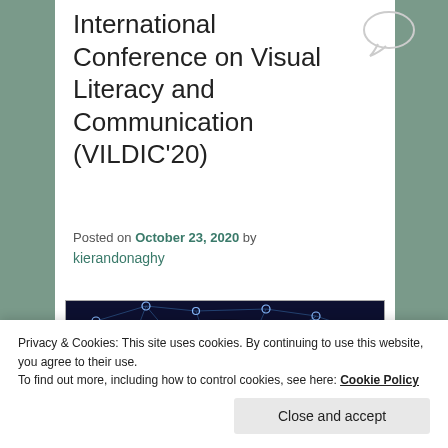International Conference on Visual Literacy and Communication (VILDIC'20)
Posted on October 23, 2020 by kierandonaghy
[Figure (illustration): Network visualization image showing interconnected nodes on a dark blue background with a glowing central light point, representing digital connectivity or neural networks.]
Privacy & Cookies: This site uses cookies. By continuing to use this website, you agree to their use. To find out more, including how to control cookies, see here: Cookie Policy
Close and accept